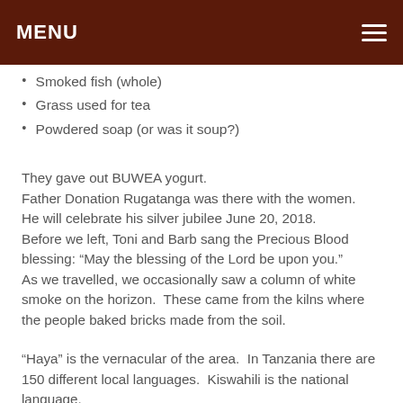MENU
Smoked fish (whole)
Grass used for tea
Powdered soap (or was it soup?)
They gave out BUWEA yogurt.
Father Donation Rugatanga was there with the women.
He will celebrate his silver jubilee June 20, 2018.
Before we left, Toni and Barb sang the Precious Blood blessing: “May the blessing of the Lord be upon you.”
As we travelled, we occasionally saw a column of white smoke on the horizon.  These came from the kilns where the people baked bricks made from the soil.
“Haya” is the vernacular of the area.  In Tanzania there are 150 different local languages.  Kiswahili is the national language.
Adventina “knows everything,” they say, having worked